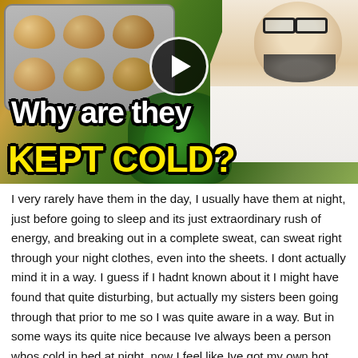[Figure (screenshot): YouTube-style video thumbnail showing eggs in a tray on the left, a bearded man with glasses on the right, a play button in the center, with text overlay 'Why are they KEPT COLD?' in white and yellow bold font on a background of vegetables and eggs.]
I very rarely have them in the day, I usually have them at night, just before going to sleep and its just extraordinary rush of energy, and breaking out in a complete sweat, can sweat right through your night clothes, even into the sheets. I dont actually mind it in a way. I guess if I hadnt known about it I might have found that quite disturbing, but actually my sisters been going through that prior to me so I was quite aware in a way. But in some ways its quite nice because Ive always been a person whos cold in bed at night, now I feel like Ive got my own hot water bottle to keep me warm at